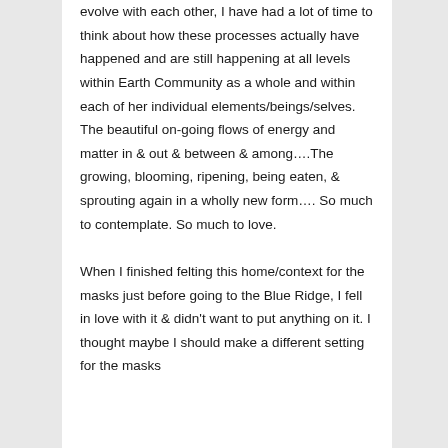evolve with each other, I have had a lot of time to think about how these processes actually have happened and are still happening at all levels within Earth Community as a whole and within each of her individual elements/beings/selves. The beautiful on-going flows of energy and matter in & out & between & among….The growing, blooming, ripening, being eaten, & sprouting again in a wholly new form…. So much to contemplate. So much to love.

When I finished felting this home/context for the masks just before going to the Blue Ridge, I fell in love with it & didn't want to put anything on it. I thought maybe I should make a different setting for the masks